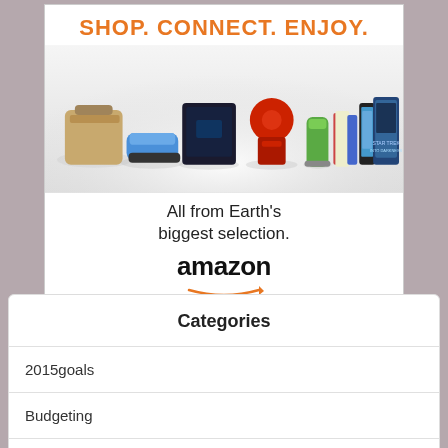[Figure (advertisement): Amazon advertisement with orange tagline 'SHOP. CONNECT. ENJOY.' above product images (bag, sneakers, PS4, KitchenAid mixer, smoothie, books, Kindle, movie box set), tagline 'All from Earth's biggest selection.' and Amazon logo with arrow]
Categories
2015goals
Budgeting
Debt